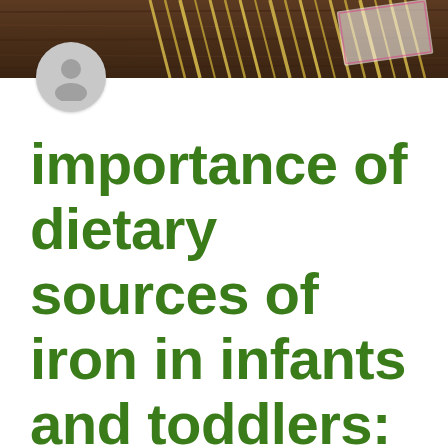[Figure (photo): Top banner photo showing pasta/spaghetti on a dark wooden surface with some paper/packaging visible, serving as background header image for a blog post]
[Figure (illustration): Circular gray avatar icon with a generic person silhouette, positioned overlapping the bottom of the photo banner]
importance of dietary sources of iron in infants and toddlers: